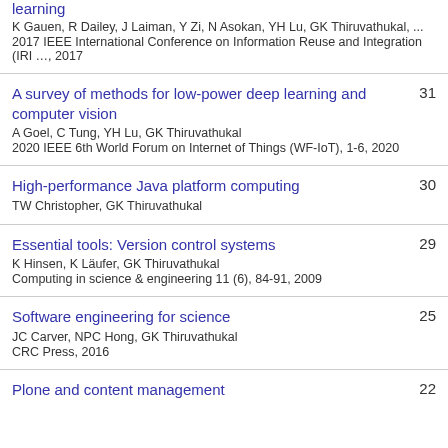learning
K Gauen, R Dailey, J Laiman, Y Zi, N Asokan, YH Lu, GK Thiruvathukal, ...
2017 IEEE International Conference on Information Reuse and Integration (IRI …, 2017
A survey of methods for low-power deep learning and computer vision
A Goel, C Tung, YH Lu, GK Thiruvathukal
2020 IEEE 6th World Forum on Internet of Things (WF-IoT), 1-6, 2020
31
High-performance Java platform computing
TW Christopher, GK Thiruvathukal
30
Essential tools: Version control systems
K Hinsen, K Läufer, GK Thiruvathukal
Computing in science & engineering 11 (6), 84-91, 2009
29
Software engineering for science
JC Carver, NPC Hong, GK Thiruvathukal
CRC Press, 2016
25
Plone and content management
22